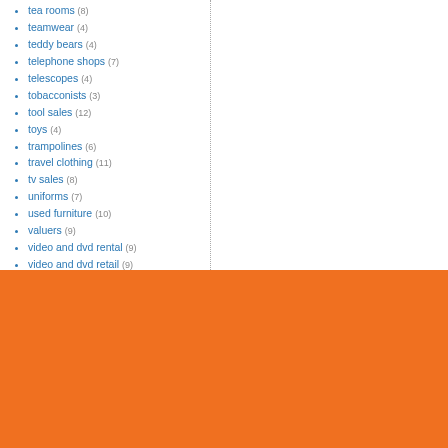tea rooms (8)
teamwear (4)
teddy bears (4)
telephone shops (7)
telescopes (4)
tobacconists (3)
tool sales (12)
toys (4)
trampolines (6)
travel clothing (11)
tv sales (8)
uniforms (7)
used furniture (10)
valuers (9)
video and dvd rental (9)
video and dvd retail (9)
video retailers (12)
village stores (6)
vintage clothing (11)
wallpaper retailers (10)
watch repairs (11)
watch retailers (13)
waterbeds (2)
wholesale furniture (5)
wool shop (9)
Darlington (7)
Durham (6)